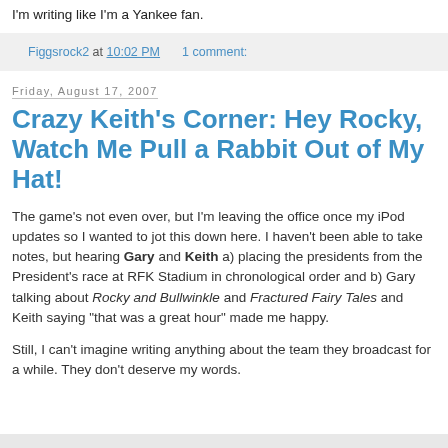I'm writing like I'm a Yankee fan.
Figgsrock2 at 10:02 PM   1 comment:
Friday, August 17, 2007
Crazy Keith's Corner: Hey Rocky, Watch Me Pull a Rabbit Out of My Hat!
The game's not even over, but I'm leaving the office once my iPod updates so I wanted to jot this down here. I haven't been able to take notes, but hearing Gary and Keith a) placing the presidents from the President's race at RFK Stadium in chronological order and b) Gary talking about Rocky and Bullwinkle and Fractured Fairy Tales and Keith saying "that was a great hour" made me happy.
Still, I can't imagine writing anything about the team they broadcast for a while. They don't deserve my words.